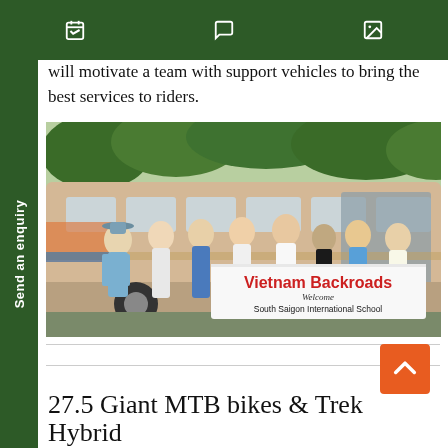[navigation icons: calendar, chat, image]
will motivate a team with support vehicles to bring the best services to riders.
[Figure (photo): Group of students and guides standing in front of a bus holding a banner that reads 'Vietnam Backroads Welcome South Saigon International School']
27.5 Giant MTB bikes & Trek Hybrid